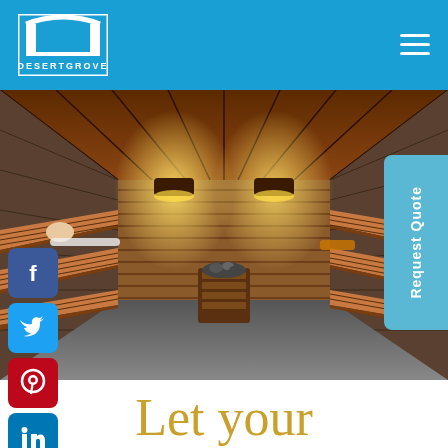DesertGrove — Header navigation bar with logo and hamburger menu
[Figure (photo): Interior of a luxury wooden sauna with warm lighting, horizontal wood paneling on benches and walls, stone walls, overhead warm lights, a wooden bucket in the center, and a person relaxing on the left bench]
[Figure (infographic): Social media icons (Facebook, Twitter, Pinterest, LinkedIn, WhatsApp) stacked vertically on the left side]
[Figure (other): Request Quote button tab on the right side, vertical text reading 'Request Quote']
Let your